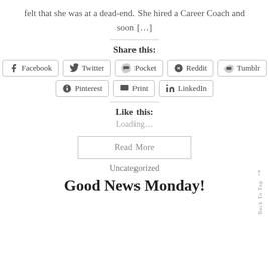felt that she was at a dead-end. She hired a Career Coach and soon [...]
Share this:
[Figure (other): Social share buttons: Facebook, Twitter, Pocket, Reddit, Tumblr, Pinterest, Print, LinkedIn]
Like this:
Loading...
Read More
Uncategorized
Good News Monday!